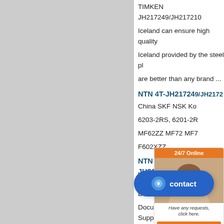TIMKEN JH217249/JH217210
Iceland can ensure high quality
Iceland provided by the steel pl
are better than any brand ...
NTN 4T-JH217249/JH217
China SKF NSK Ko
6203-2RS, 6201-2R
MF62ZZ MF72 MF7
F602XZZ.
NTN 4T-JH217249/JH2172
View latest Supply Of Bearing T
Documents. Till date 46 Supply
Tenders Of B
NTN 4T-JH217249/JH217
[Figure (other): 24/7 online chat widget with customer service representative photo, 'Have any requests, click here.' text and Quotation button]
[Figure (other): Blue contact button with chat icon and 'contact' label]